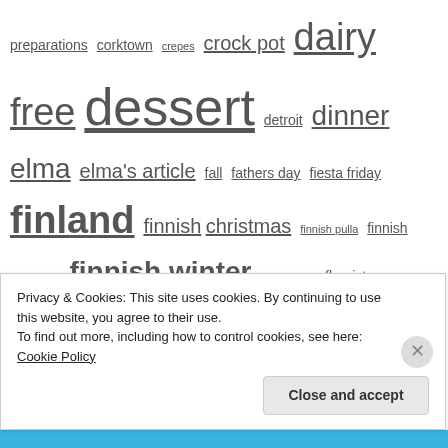preparations corktown crepes crock pot dairy free dessert detroit dinner elma elma's article fall fathers day fiesta friday finland finnish christmas finnish pulla finnish summer finnish winter flea market fleuriste food garden to table gingerbread cookies gluten-free goat cheese Grampa Jim grilled vegetables helsinki hiking holiday dessert IMK in my kitchen juhannus kaisa peni kale
Privacy & Cookies: This site uses cookies. By continuing to use this website, you agree to their use.
To find out more, including how to control cookies, see here: Cookie Policy
Close and accept